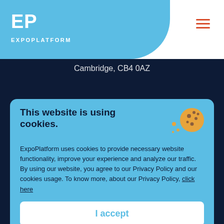[Figure (logo): ExpoPlatform logo with EP letters on light blue background, white text]
Cambridge, CB4 0AZ
Subscribe to our Newsletter
We would love to share event technology updates with you
This website is using cookies.
ExpoPlatform uses cookies to provide necessary website functionality, improve your experience and analyze our traffic. By using our website, you agree to our Privacy Policy and our cookies usage. To know more, about our Privacy Policy, click here
I accept
info@expoplatform.com